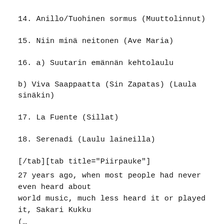14. Anillo/Tuohinen sormus (Muuttolinnut)
15. Niin minä neitonen (Ave Maria)
16. a) Suutarin emännän kehtolaulu
b) Viva Saappaatta (Sin Zapatas) (Laula sinäkin)
17. La Fuente (Sillat)
18. Serenadi (Laulu laineilla)
[/tab][tab title="Piirpauke"]
27 years ago, when most people had never even heard about world music, much less heard it or played it, Sakari Kukku (…